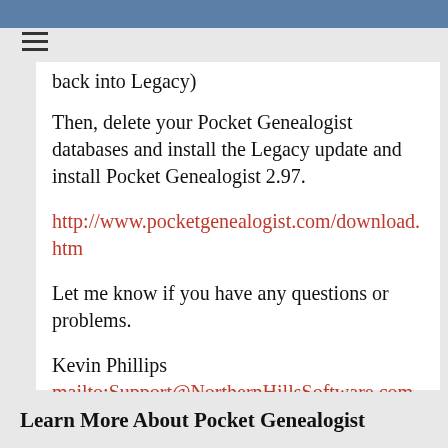back into Legacy)
Then, delete your Pocket Genealogist databases and install the Legacy update and install Pocket Genealogist 2.97.
http://www.pocketgenealogist.com/download.htm
Let me know if you have any questions or problems.
Kevin Phillips
mailto:Support@NorthernHillsSoftware.com
Learn More About Pocket Genealogist